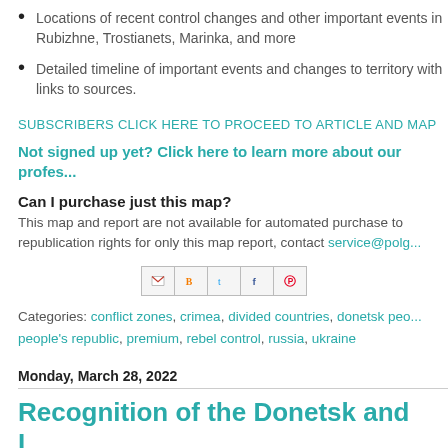Locations of recent control changes and other important events in Rubizhne, Trostianets, Marinka, and more
Detailed timeline of important events and changes to territory with links to sources.
SUBSCRIBERS CLICK HERE TO PROCEED TO ARTICLE AND MAP
Not signed up yet? Click here to learn more about our profes...
Can I purchase just this map?
This map and report are not available for automated purchase to republication rights for only this map report, contact service@polg...
[Figure (infographic): Row of social share buttons: Gmail, Blogger, Twitter, Facebook, Pinterest]
Categories: conflict zones, crimea, divided countries, donetsk people's republic, premium, rebel control, russia, ukraine
Monday, March 28, 2022
Recognition of the Donetsk and L...